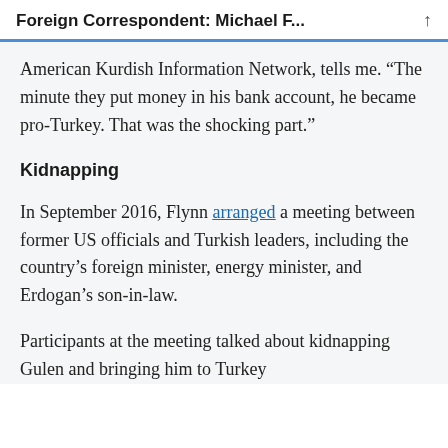Foreign Correspondent: Michael F...
American Kurdish Information Network, tells me. “The minute they put money in his bank account, he became pro-Turkey. That was the shocking part.”
Kidnapping
In September 2016, Flynn arranged a meeting between former US officials and Turkish leaders, including the country’s foreign minister, energy minister, and Erdogan’s son-in-law.
Participants at the meeting talked about kidnapping Gulen and bringing him to Turkey